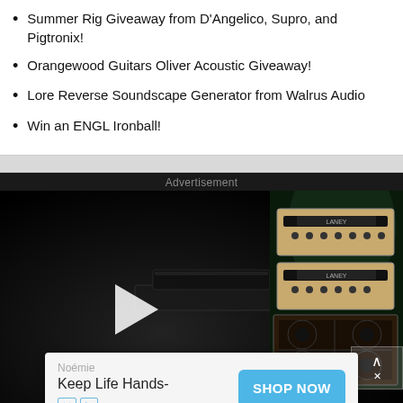Summer Rig Giveaway from D'Angelico, Supro, and Pigtronix!
Orangewood Guitars Oliver Acoustic Giveaway!
Lore Reverse Soundscape Generator from Walrus Audio
Win an ENGL Ironball!
Advertisement
[Figure (screenshot): Advertisement video player showing guitar amplifier equipment on a dark background with a play button overlay. Below the video is a banner ad for Noémie with tagline 'Keep Life Hands-' and a blue 'SHOP NOW' button. Small ad attribution icons (X and play) appear at bottom left of the banner.]